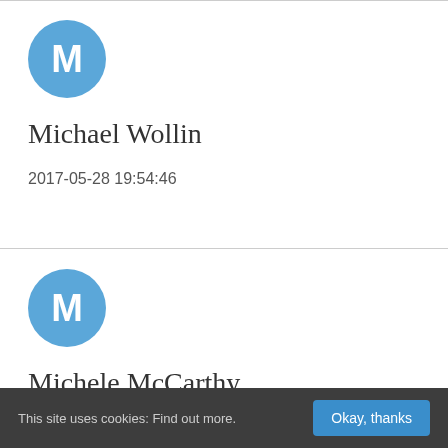[Figure (illustration): Blue circular avatar with white letter M for Michael Wollin]
Michael Wollin
2017-05-28 19:54:46
[Figure (illustration): Blue circular avatar with white letter M for Michele McCarthy]
Michele McCarthy
2017-05-28 20:11:03
This site uses cookies: Find out more.  Okay, thanks